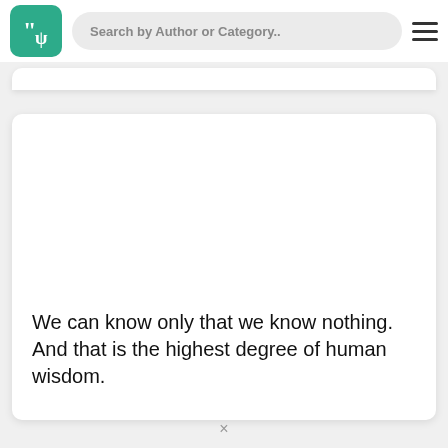Search by Author or Category..
We can know only that we know nothing. And that is the highest degree of human wisdom.